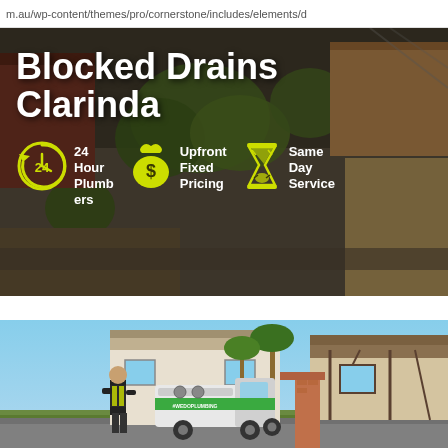m.au/wp-content/themes/pro/cornerstone/includes/elements/d
[Figure (infographic): Aerial/drone view hero banner for 'Blocked Drains Clarinda' plumbing service. Shows overhead photograph of suburban houses with trees, overlaid with bold white text title and three yellow icon feature callouts: 24 Hour Plumbers (clock icon), Upfront Fixed Pricing (money bag icon), Same Day Service (hourglass icon).]
[Figure (photo): Street-level photo of a plumber in a high-visibility vest standing next to a branded green and white service ute/truck, with suburban houses and palm trees in the background.]